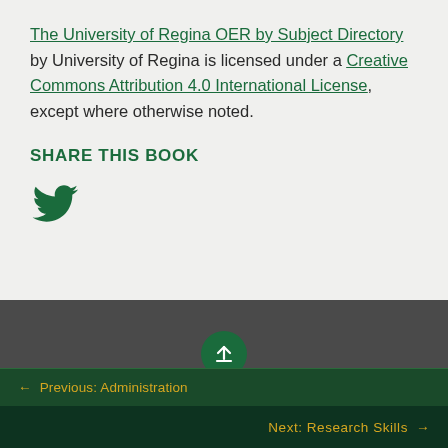The University of Regina OER by Subject Directory by University of Regina is licensed under a Creative Commons Attribution 4.0 International License, except where otherwise noted.
SHARE THIS BOOK
[Figure (illustration): Twitter bird logo icon in dark green]
[Figure (illustration): Dark grey footer bar with green circular upload/share button with upward arrow]
← Previous: Administration
Next: Research Skills →